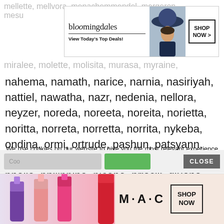mellette, mellvora, menachemmendel, mergeron, mesu
[Figure (screenshot): Bloomingdales advertisement banner with logo, 'View Today's Top Deals!' tagline, model wearing hat, and SHOP NOW button]
miralee, molette, molisita, murasa, myraine,
nahema, namath, narice, narnia, nasiriyah, nattiel, nawatha, nazr, nedenia, nellora, neyzer, noreda, noreeta, noreita, norietta, noritta, norreta, norretta, norrita, nykeba, ondina, ormi, ortrude, pashun, patsyann, peregrina, perette, perilla, perriann, petehn, phajja, philippina, picabo, priscill, qiuana, qorianka, quartey, quashan,
We use cookies on our website to give you the most relevant experience by remembering your preferences and repeat visits. By clicking “Accept”, you consent to the use of ALL the cookies.
Do not sell my personal information.
[Figure (screenshot): Cookie settings bar with input field, green accept button, and dark CLOSE button]
[Figure (screenshot): MAC cosmetics advertisement showing lipsticks in purple, pink, and red colors with MAC logo and SHOP NOW button]